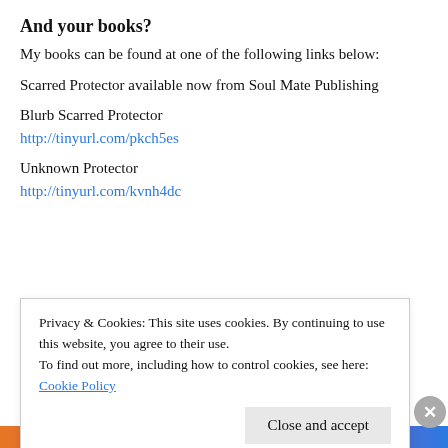And your books?
My books can be found at one of the following links below:
Scarred Protector available now from Soul Mate Publishing
Blurb Scarred Protector
http://tinyurl.com/pkch5es
Unknown Protector
http://tinyurl.com/kvnh4dc
Privacy & Cookies: This site uses cookies. By continuing to use this website, you agree to their use.
To find out more, including how to control cookies, see here: Cookie Policy
Close and accept